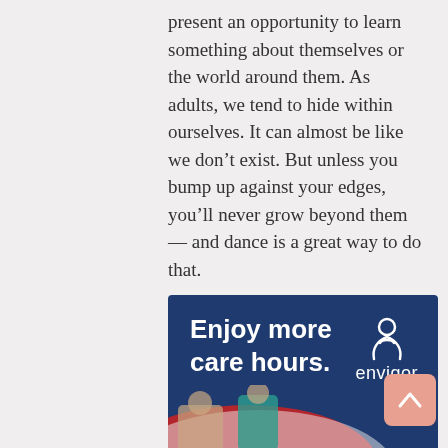present an opportunity to learn something about themselves or the world around them. As adults, we tend to hide within ourselves. It can almost be like we don't exist. But unless you bump up against your edges, you'll never grow beyond them — and dance is a great way to do that.
[Figure (other): Advertisement for Envigor care services. Dark navy blue background with white bold text reading 'Enjoy more care hours.' with the Envigor logo (stylized heart/person icon) to the right. Lower portion shows a partial image of an elderly person with a caregiver and a swooping red/white ribbon graphic.]